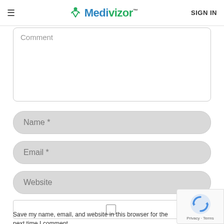≡  Medivizor™  SIGN IN
Comment
Name *
Email *
Website
Save my name, email, and website in this browser for the next time I comment.
[Figure (screenshot): reCAPTCHA privacy badge with rotating arrows logo and Privacy · Terms text]